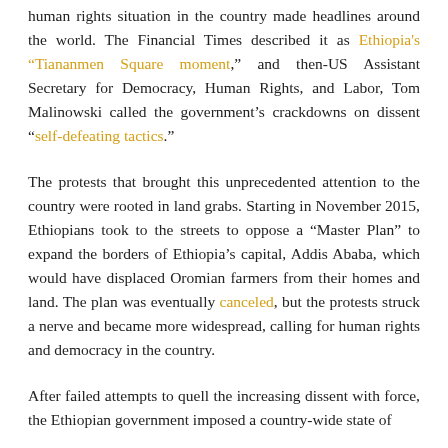human rights situation in the country made headlines around the world. The Financial Times described it as Ethiopia's "Tiananmen Square moment," and then-US Assistant Secretary for Democracy, Human Rights, and Labor, Tom Malinowski called the government's crackdowns on dissent "self-defeating tactics."
The protests that brought this unprecedented attention to the country were rooted in land grabs. Starting in November 2015, Ethiopians took to the streets to oppose a "Master Plan" to expand the borders of Ethiopia's capital, Addis Ababa, which would have displaced Oromian farmers from their homes and land. The plan was eventually canceled, but the protests struck a nerve and became more widespread, calling for human rights and democracy in the country.
After failed attempts to quell the increasing dissent with force, the Ethiopian government imposed a country-wide state of